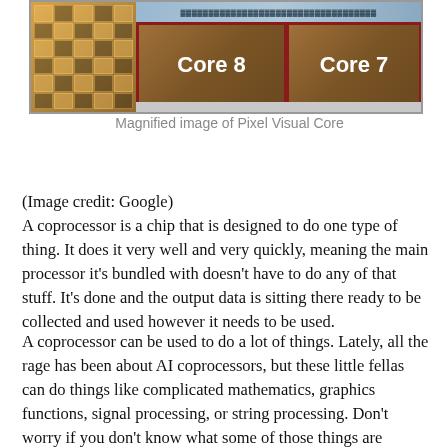[Figure (photo): Magnified image of a Pixel Visual Core chip showing Core 8 and Core 7 sections with circuit patterns]
Magnified image of Pixel Visual Core
(Image credit: Google)
A coprocessor is a chip that is designed to do one type of thing. It does it very well and very quickly, meaning the main processor it's bundled with doesn't have to do any of that stuff. It's done and the output data is sitting there ready to be collected and used however it needs to be used.
A coprocessor can be used to do a lot of things. Lately, all the rage has been about AI coprocessors, but these little fellas can do things like complicated mathematics, graphics functions, signal processing, or string processing. Don't worry if you don't know what some of those things are because it doesn't really matter. A coprocessor can do a lot of complicated stuff so the CPU inside something like your phone or your smartwatch doesn't have to do it. That means it's free to do other stuff,